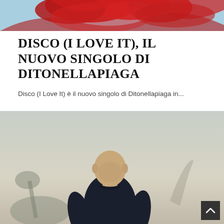[Figure (photo): Red silk or fabric artwork, abstract swirling red forms against a light blue background, top portion visible]
DISCO (I LOVE IT), IL NUOVO SINGOLO DI DITONELLAPIAGA
Disco (I Love It) è il nuovo singolo di Ditonellapiaga in...
[Figure (photo): A bald man in a dark navy sweater standing outdoors, looking downward, against a hazy sky background with plant shadows visible]